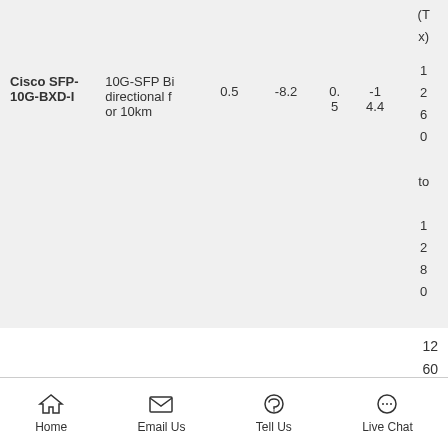| Product | Description | Output Power (dBm) | Receiver Sensitivity (dBm) | Tx (mA) | Rx (mA) | Wavelength (nm) |
| --- | --- | --- | --- | --- | --- | --- |
| Cisco SFP-10G-BXD-I | 10G-SFP Bidirectional for 10km | 0.5 | -8.2 | 0.5 | -14.4 | 1260 to 12800 (Rx) |
12
60
Home | Email Us | Tell Us | Live Chat